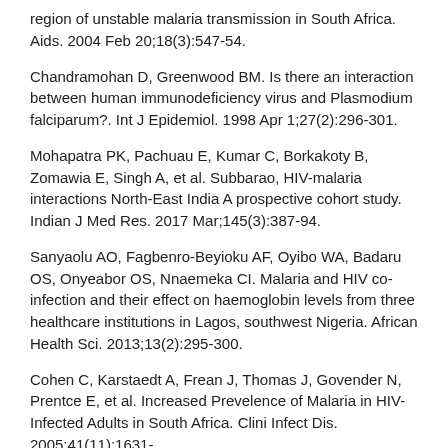region of unstable malaria transmission in South Africa. Aids. 2004 Feb 20;18(3):547-54.
Chandramohan D, Greenwood BM. Is there an interaction between human immunodeficiency virus and Plasmodium falciparum?. Int J Epidemiol. 1998 Apr 1;27(2):296-301.
Mohapatra PK, Pachuau E, Kumar C, Borkakoty B, Zomawia E, Singh A, et al. Subbarao, HIV-malaria interactions North-East India A prospective cohort study. Indian J Med Res. 2017 Mar;145(3):387-94.
Sanyaolu AO, Fagbenro-Beyioku AF, Oyibo WA, Badaru OS, Onyeabor OS, Nnaemeka CI. Malaria and HIV co-infection and their effect on haemoglobin levels from three healthcare institutions in Lagos, southwest Nigeria. African Health Sci. 2013;13(2):295-300.
Cohen C, Karstaedt A, Frean J, Thomas J, Govender N, Prentce E, et al. Increased Prevelence of Malaria in HIV-Infected Adults in South Africa. Clini Infect Dis. 2005;41(11):1631-